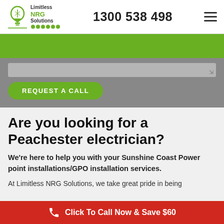[Figure (logo): Limitless NRG Solutions logo with lightbulb icon and small service icons below]
1300 538 498
[Figure (other): Hamburger menu icon (three horizontal lines)]
[Figure (other): Green banner strip]
[Figure (other): Grey form area with text input and REQUEST A CALL green button]
Are you looking for a Peachester electrician?
We're here to help you with your Sunshine Coast Power point installations/GPO installation services.
At Limitless NRG Solutions, we take great pride in being
Click To Call Now & Save $60